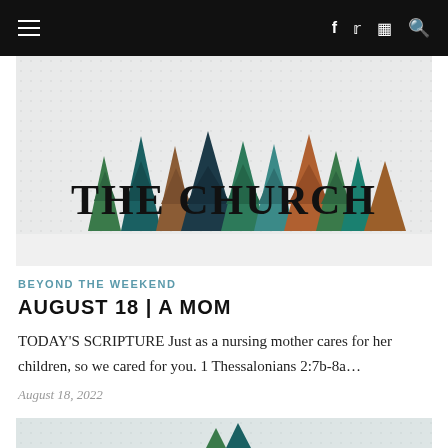≡  f  twitter  instagram  search
[Figure (illustration): Illustrated banner with colorful geometric Christmas trees in green, teal, dark navy, and brown/orange colors on a light gray dotted background. Text in the center reads 'THE CHURCH' in large serif font.]
BEYOND THE WEEKEND
AUGUST 18 | A MOM
TODAY'S SCRIPTURE Just as a nursing mother cares for her children, so we cared for you. 1 Thessalonians 2:7b-8a…
August 18, 2022
[Figure (illustration): Partial view of another illustrated banner with similar tree motif, partially visible at the bottom of the page.]